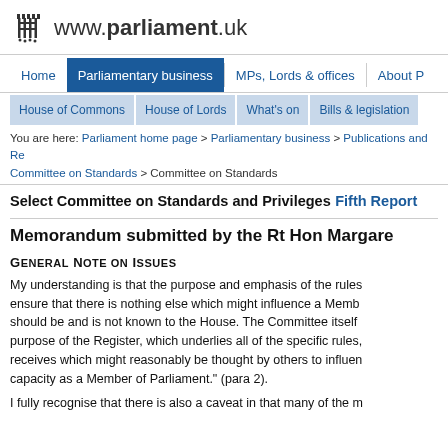www.parliament.uk
Home | Parliamentary business | MPs, Lords & offices | About Parliament
House of Commons | House of Lords | What's on | Bills & legislation
You are here: Parliament home page > Parliamentary business > Publications and Records > Committee on Standards > Committee on Standards
Select Committee on Standards and Privileges Fifth Report
Memorandum submitted by the Rt Hon Margaret
General Note on Issues
My understanding is that the purpose and emphasis of the rules is to ensure that there is nothing else which might influence a Member should be and is not known to the House. The Committee itself purpose of the Register, which underlies all of the specific rules, receives which might reasonably be thought by others to influence capacity as a Member of Parliament." (para 2).
I fully recognise that there is also a caveat in that many of the m